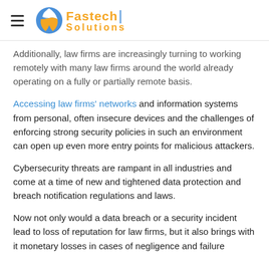Fastech Solutions
Additionally, law firms are increasingly turning to working remotely with many law firms around the world already operating on a fully or partially remote basis.
Accessing law firms' networks and information systems from personal, often insecure devices and the challenges of enforcing strong security policies in such an environment can open up even more entry points for malicious attackers.
Cybersecurity threats are rampant in all industries and come at a time of new and tightened data protection and breach notification regulations and laws.
Now not only would a data breach or a security incident lead to loss of reputation for law firms, but it also brings with it monetary losses in cases of negligence and failure